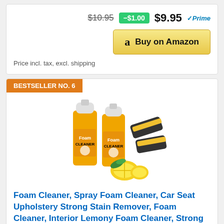$10.95  -$1.00  $9.95  Prime
Buy on Amazon
Price incl. tax, excl. shipping
BESTSELLER NO. 6
[Figure (photo): Two yellow Foam Cleaner spray bottles with two black and yellow scrubbing pads and a lemon, on white background]
Foam Cleaner, Spray Foam Cleaner, Car Seat Upholstery Strong Stain Remover, Foam Cleaner, Interior Lemony Foam Cleaner, Strong Cleaner Cleaner Spray for